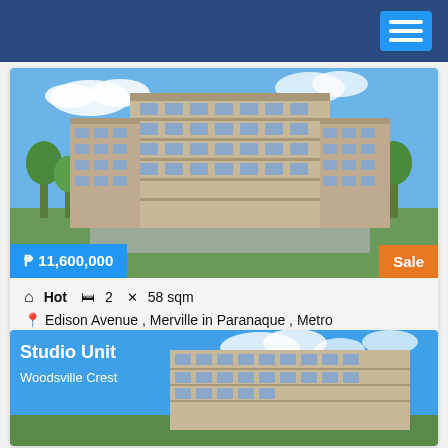Navigation header with menu button
[Figure (photo): Exterior photo of a multi-story residential condominium building with green landscaping]
₱ 11,600,000
Sale
Hot  2  58 sqm
Edison Avenue , Merville in Paranaque , Metro
[Figure (photo): Exterior photo of Woodsville Crest condominium building against blue sky]
Studio Unit
Woodsville Crest